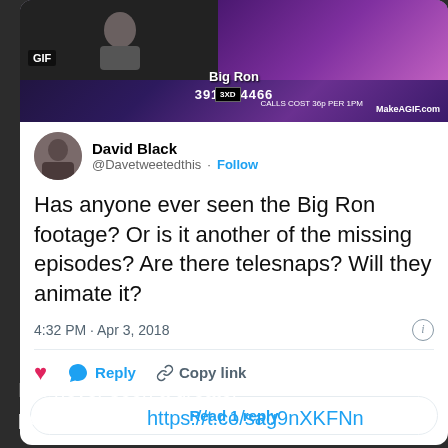[Figure (screenshot): GIF thumbnail showing Big Ron text overlay on dark background with MakeAGIF.com watermark]
David Black
@Davetweetedthis · Follow
Has anyone ever seen the Big Ron footage? Or is it another of the missing episodes? Are there telesnaps? Will they animate it?
4:32 PM · Apr 3, 2018
Reply   Copy link
Read 1 reply
I've never seen a greater performance...https://t.co/sag9nXKFNn